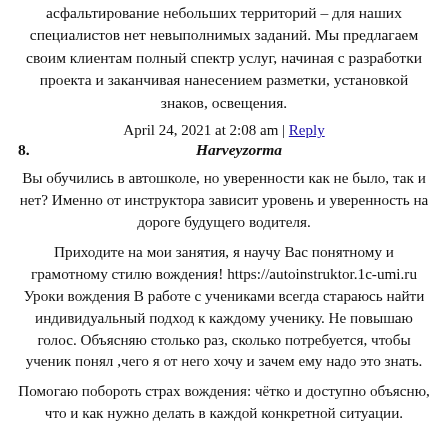асфальтирование небольших территорий – для наших специалистов нет невыполнимых заданий. Мы предлагаем своим клиентам полный спектр услуг, начиная с разработки проекта и заканчивая нанесением разметки, установкой знаков, освещения.
April 24, 2021 at 2:08 am | Reply
8. Harveyzorma
Вы обучились в автошколе, но уверенности как не было, так и нет? Именно от инструктора зависит уровень и уверенность на дороге будущего водителя.
Приходите на мои занятия, я научу Вас понятному и грамотному стилю вождения! https://autoinstruktor.1c-umi.ru Уроки вождения В работе с учениками всегда стараюсь найти индивидуальный подход к каждому ученику. Не повышаю голос. Объясняю столько раз, сколько потребуется, чтобы ученик понял ,чего я от него хочу и зачем ему надо это знать.
Помогаю побороть страх вождения: чётко и доступно объясню, что и как нужно делать в каждой конкретной ситуации.